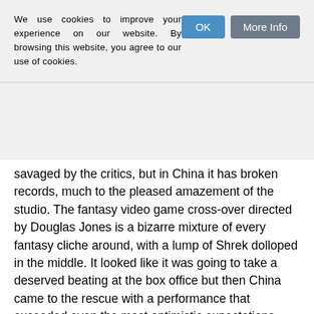We use cookies to improve your experience on our website. By browsing this website, you agree to our use of cookies.
savaged by the critics, but in China it has broken records, much to the pleased amazement of the studio. The fantasy video game cross-over directed by Douglas Jones is a bizarre mixture of every fantasy cliche around, with a lump of Shrek dolloped in the middle. It looked like it was going to take a deserved beating at the box office but then China came to the rescue with a performance that exceeded even the most optimistic expectations. However, a shadowy figure from the Pentagon has told the Studio Exec that all might not be what it seems:
The Chinese are crafty and this is not the